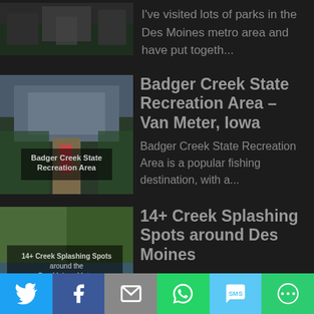[Figure (photo): Partial thumbnail of a park/outdoor scene at top]
I've visited lots of parks in the Des Moines metro area and have put togeth...
[Figure (photo): Badger Creek State Recreation Area thumbnail showing a person walking on a path]
Badger Creek State Recreation Area – Van Meter, Iowa
Badger Creek State Recreation Area is a popular fishing destination, with a...
[Figure (photo): 14+ Creek Splashing Spots around the Des Moines Metro thumbnail]
14+ Creek Splashing Spots around Des Moines
My kids love playing in the water, whether